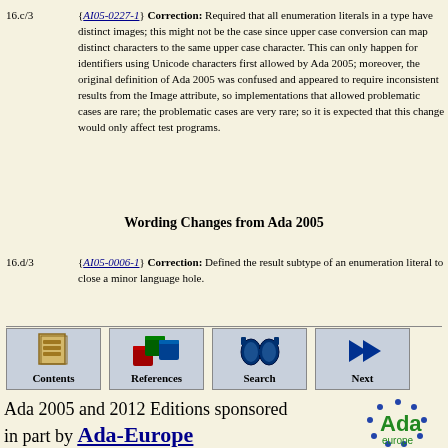16.c/3   {AI05-0227-1} Correction: Required that all enumeration literals in a type have distinct images; this might not be the case since upper case conversion can map distinct characters to the same upper case character. This can only happen for identifiers using Unicode characters first allowed by Ada 2005; moreover, the original definition of Ada 2005 was confused and appeared to require inconsistent results from the Image attribute, so implementations that allowed problematic cases are rare; the problematic cases are very rare; so it is expected that this change would only affect test programs.
Wording Changes from Ada 2005
16.d/3   {AI05-0006-1} Correction: Defined the result subtype of an enumeration literal to close a minor language hole.
[Figure (infographic): Navigation bar with Contents, References, Search, Next buttons]
Ada 2005 and 2012 Editions sponsored in part by Ada-Europe